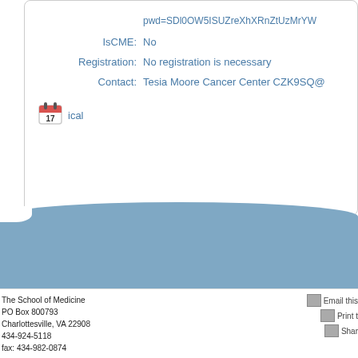pwd=SDl0OW5ISUZreXhXRnZtUzMrYW...
IsCME: No
Registration: No registration is necessary
Contact: Tesia Moore Cancer Center CZK9SQ@...
[Figure (other): Calendar icon with number 17]
ical
The School of Medicine
PO Box 800793
Charlottesville, VA 22908
434-924-5118
fax: 434-982-0874